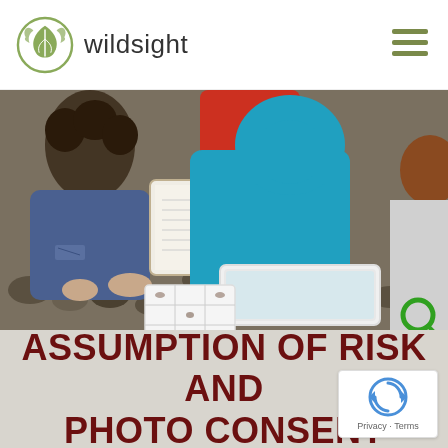wildsight
[Figure (photo): Overhead view of children examining river specimens in a white tray on a rocky riverbank, with a clipboard visible]
ASSUMPTION OF RISK AND PHOTO CONSENT